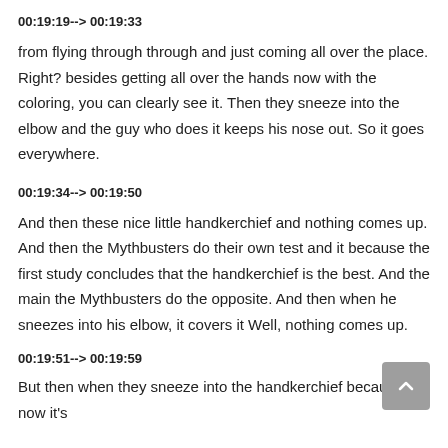00:19:19--> 00:19:33
from flying through through and just coming all over the place. Right? besides getting all over the hands now with the coloring, you can clearly see it. Then they sneeze into the elbow and the guy who does it keeps his nose out. So it goes everywhere.
00:19:34--> 00:19:50
And then these nice little handkerchief and nothing comes up. And then the Mythbusters do their own test and it because the first study concludes that the handkerchief is the best. And the main the Mythbusters do the opposite. And then when he sneezes into his elbow, it covers it Well, nothing comes up.
00:19:51--> 00:19:59
But then when they sneeze into the handkerchief because now it's